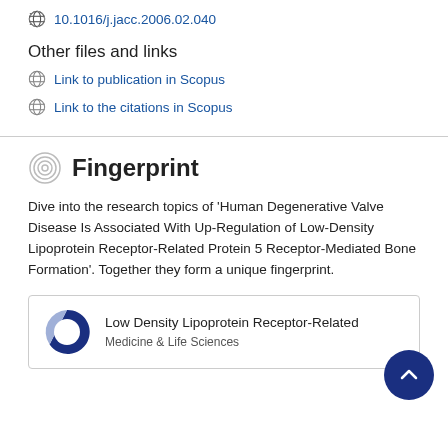10.1016/j.jacc.2006.02.040
Other files and links
Link to publication in Scopus
Link to the citations in Scopus
Fingerprint
Dive into the research topics of 'Human Degenerative Valve Disease Is Associated With Up-Regulation of Low-Density Lipoprotein Receptor-Related Protein 5 Receptor-Mediated Bone Formation'. Together they form a unique fingerprint.
Low Density Lipoprotein Receptor-Related
Medicine & Life Sciences